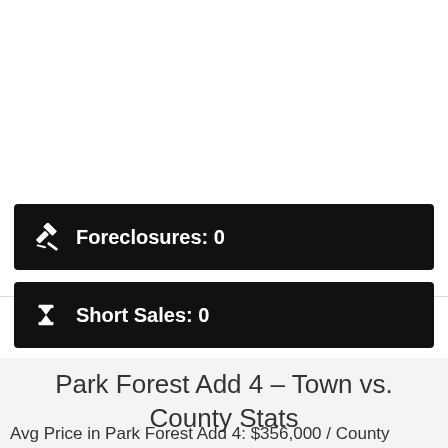[Figure (illustration): Top navigation icons: sign-in arrow, envelope/mail icon, camera/Instagram icon circle, and hamburger menu button]
Foreclosures: 0
Short Sales: 0
Park Forest Add 4 – Town vs. County Stats
Avg Price in Park Forest Add 4: $356,000 / County Avg $686,800